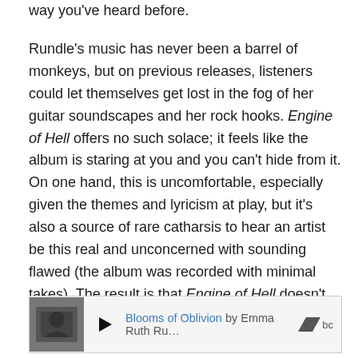way you've heard before.
Rundle's music has never been a barrel of monkeys, but on previous releases, listeners could let themselves get lost in the fog of her guitar soundscapes and her rock hooks. Engine of Hell offers no such solace; it feels like the album is staring at you and you can't hide from it. On one hand, this is uncomfortable, especially given the themes and lyricism at play, but it's also a source of rare catharsis to hear an artist be this real and unconcerned with sounding flawed (the album was recorded with minimal takes). The result is that Engine of Hell doesn't really make me depressed because I find myself inspired by Rundle and her abilities.
[Figure (screenshot): Bandcamp embedded music player showing a thumbnail image on the left, a play button, the track title 'Blooms of Oblivion by Emma Ruth Ru...' in blue, and the Bandcamp logo on the right.]
While her electric guitar has often been the main focus of